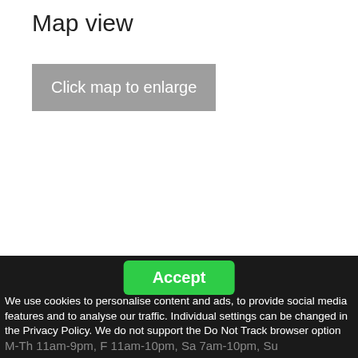Map view
[Figure (other): Grey button labeled 'Click map to enlarge' representing a map placeholder area]
Accept
We use cookies to personalise content and ads, to provide social media features and to analyse our traffic. Individual settings can be changed in the Privacy Policy. We do not support the Do Not Track browser option (CalOPPA).  Further Information
M-Th 11am-9pm, F 11am-10pm, Sa 7am-10pm, Su